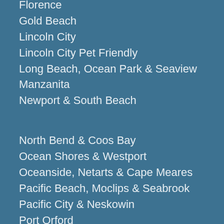Florence
Gold Beach
Lincoln City
Lincoln City Pet Friendly
Long Beach, Ocean Park & Seaview
Manzanita
Newport & South Beach
North Bend & Coos Bay
Ocean Shores & Westport
Oceanside, Netarts & Cape Meares
Pacific Beach, Moclips & Seabrook
Pacific City & Neskowin
Port Orford
Reedsport
Rockaway Beach
Seaside & Gearhart
Waldport & Seal Rock
Whidbey Island